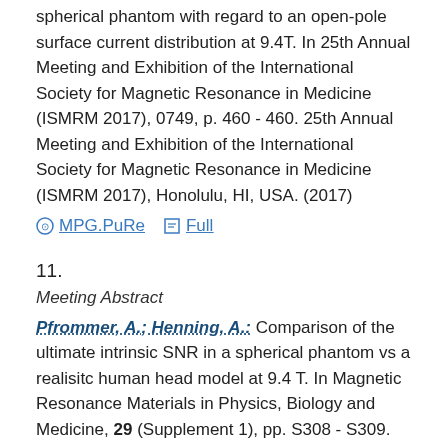spherical phantom with regard to an open-pole surface current distribution at 9.4T. In 25th Annual Meeting and Exhibition of the International Society for Magnetic Resonance in Medicine (ISMRM 2017), 0749, p. 460 - 460. 25th Annual Meeting and Exhibition of the International Society for Magnetic Resonance in Medicine (ISMRM 2017), Honolulu, HI, USA. (2017)
MPG.PuRe   Full
11.
Meeting Abstract
Pfrommer, A.; Henning, A.: Comparison of the ultimate intrinsic SNR in a spherical phantom vs a realisitc human head model at 9.4 T. In Magnetic Resonance Materials in Physics, Biology and Medicine, 29 (Supplement 1), pp. S308 - S309. 33rd Annual Scientific Meeting of the European Society for Magnetic Resonance in Medicine and